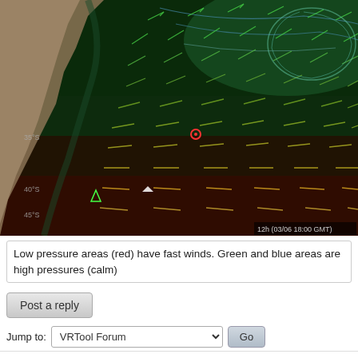[Figure (map): Weather wind map showing pressure areas over ocean near coastline. Red/dark areas indicate low pressure with fast winds; green and blue areas indicate high pressure (calm). Timestamp: 12h (03/06 18:00 GMT). Wind direction arrows visible across the map. Small vessel markers visible on the map.]
Low pressure areas (red) have fast winds. Green and blue areas are high pressures (calm)
Post a reply
Jump to: VRTool Forum  Go
Powered by phpBB © phpBB Group.   phpBB Mobile / SEO by Artodia.
Board index